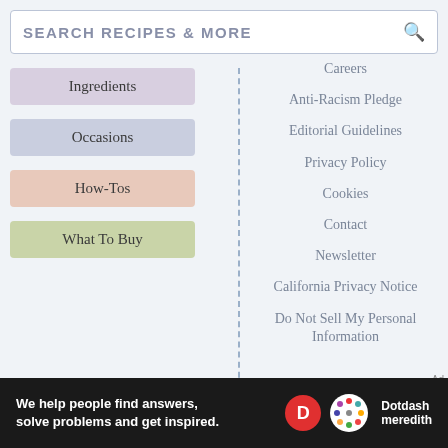SEARCH RECIPES & MORE
Ingredients
Occasions
How-Tos
What To Buy
Careers
Anti-Racism Pledge
Editorial Guidelines
Privacy Policy
Cookies
Contact
Newsletter
California Privacy Notice
Do Not Sell My Personal Information
Ad
We help people find answers, solve problems and get inspired. Dotdash meredith